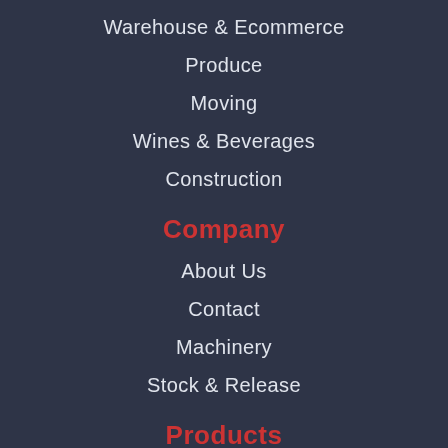Warehouse & Ecommerce
Produce
Moving
Wines & Beverages
Construction
Company
About Us
Contact
Machinery
Stock & Release
Products
Gloves